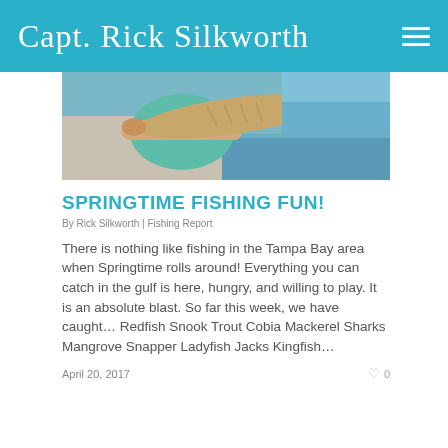Capt. Rick Silkworth
[Figure (photo): Person holding a large fish over water, springtime fishing photo]
SPRINGTIME FISHING FUN!
By Rick Silkworth | Fishing Report
There is nothing like fishing in the Tampa Bay area when Springtime rolls around! Everything you can catch in the gulf is here, hungry, and willing to play. It is an absolute blast. So far this week, we have caught… Redfish Snook Trout Cobia Mackerel Sharks Mangrove Snapper Ladyfish Jacks Kingfish…
April 20, 2017
0